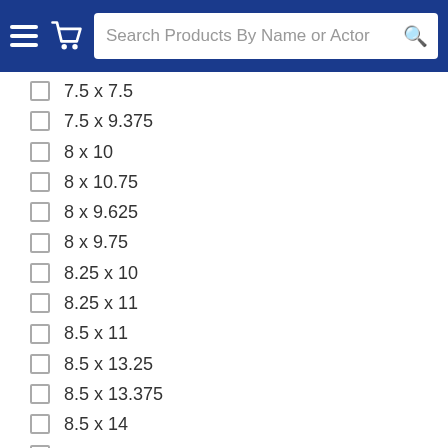Search Products By Name or Actor
7.5 x 7.5
7.5 x 9.375
8 x 10
8 x 10.75
8 x 9.625
8 x 9.75
8.25 x 10
8.25 x 11
8.5 x 11
8.5 x 13.25
8.5 x 13.375
8.5 x 14
8.75 x 11
9 x 12
9 x 13
9 x 14